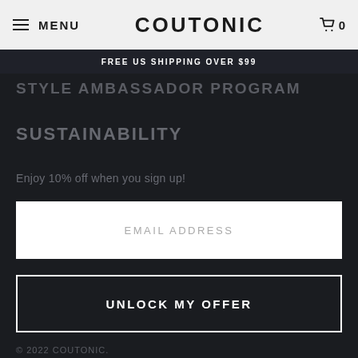MENU  COUTONIC  0
FREE US SHIPPING OVER $99
STYLE AMBASSADOR PROGRAM
SUSTAINABILITY
Enjoy 10% off when you sign up!
EMAIL ADDRESS
UNLOCK MY OFFER
© 2022 COUTONIC.